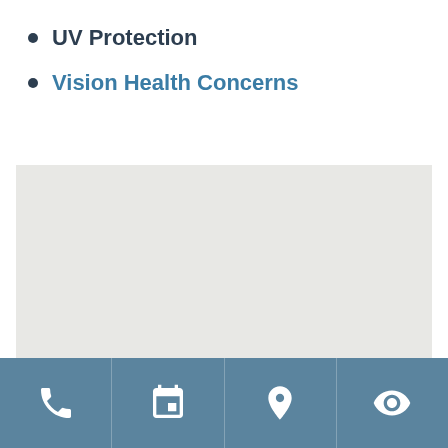UV Protection
Vision Health Concerns
[Figure (map): Light grey map area, likely an embedded Google Maps or similar map widget showing a geographic area.]
[Figure (infographic): Footer navigation bar with four icon buttons: phone, calendar, location pin, and eye icons on a blue-grey background.]